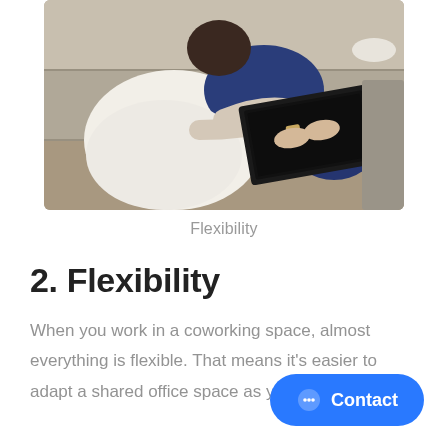[Figure (photo): Overhead view of a man sitting outdoors on concrete steps using a laptop, wearing a white shirt and blue jeans]
Flexibility
2. Flexibility
When you work in a coworking space, almost everything is flexible. That means it's easier to adapt a shared office space as y… grows.